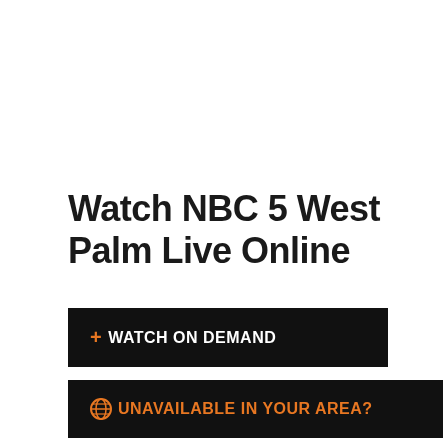Watch NBC 5 West Palm Live Online
+ WATCH ON DEMAND
UNAVAILABLE IN YOUR AREA?